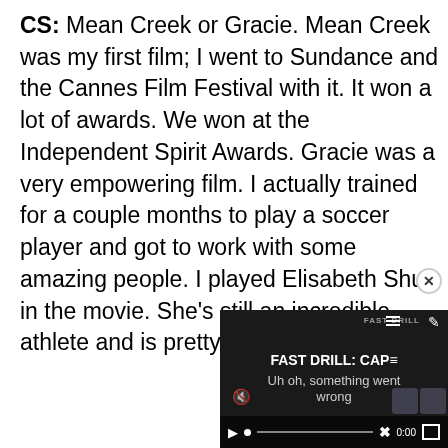CS: Mean Creek or Gracie. Mean Creek was my first film; I went to Sundance and the Cannes Film Festival with it. It won a lot of awards. We won at the Independent Spirit Awards. Gracie was a very empowering film. I actually trained for a couple months to play a soccer player and got to work with some amazing people. I played Elisabeth Shue in the movie. She's still an incredible athlete and is pretty amazing.
[Figure (screenshot): Embedded video player showing error state: 'FAST DRILL: CAP— Uh oh, something went wrong' with playback controls at the bottom showing 0:00 timestamp.]